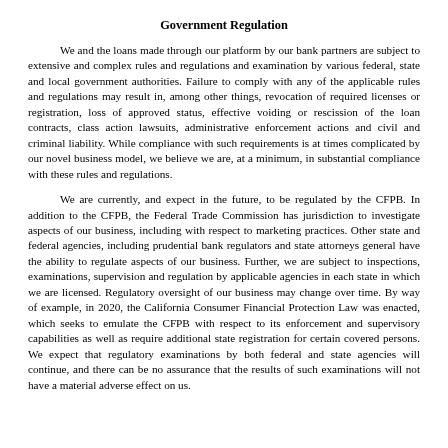Government Regulation
We and the loans made through our platform by our bank partners are subject to extensive and complex rules and regulations and examination by various federal, state and local government authorities. Failure to comply with any of the applicable rules and regulations may result in, among other things, revocation of required licenses or registration, loss of approved status, effective voiding or rescission of the loan contracts, class action lawsuits, administrative enforcement actions and civil and criminal liability. While compliance with such requirements is at times complicated by our novel business model, we believe we are, at a minimum, in substantial compliance with these rules and regulations.
We are currently, and expect in the future, to be regulated by the CFPB. In addition to the CFPB, the Federal Trade Commission has jurisdiction to investigate aspects of our business, including with respect to marketing practices. Other state and federal agencies, including prudential bank regulators and state attorneys general have the ability to regulate aspects of our business. Further, we are subject to inspections, examinations, supervision and regulation by applicable agencies in each state in which we are licensed. Regulatory oversight of our business may change over time. By way of example, in 2020, the California Consumer Financial Protection Law was enacted, which seeks to emulate the CFPB with respect to its enforcement and supervisory capabilities as well as require additional state registration for certain covered persons. We expect that regulatory examinations by both federal and state agencies will continue, and there can be no assurance that the results of such examinations will not have a material adverse effect on us.